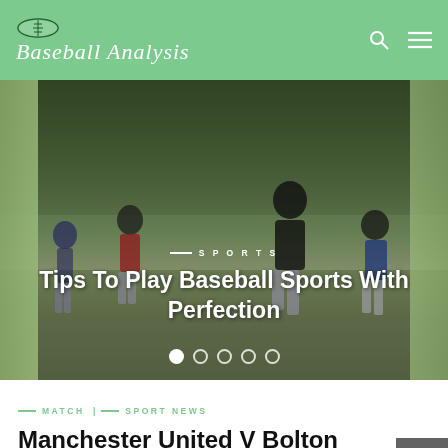Baseball Analysis
[Figure (photo): Hero slider showing youth baseball players on a green field. Overlay text reads: SPORTS — Tips To Play Baseball Sports With Perfection. Five slider dots at bottom, first active.]
Tips To Play Baseball Sports With Perfection
MATCH | SPORT NEWS
Manchester United V Bolton Wanderers Live